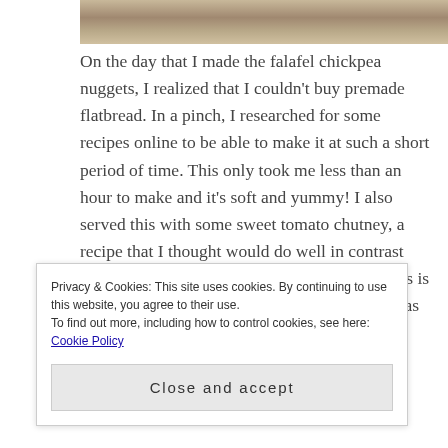[Figure (photo): Partial photo strip at top of page showing food or person, cropped]
On the day that I made the falafel chickpea nuggets, I realized that I couldn't buy premade flatbread. In a pinch, I researched for some recipes online to be able to make it at such a short period of time. This only took me less than an hour to make and it's soft and yummy! I also served this with some sweet tomato chutney, a recipe that I thought would do well in contrast with the tanginess of the rest of the dishes. This is not traditional Indian tomato chutney, but just as good, and goes perfectly with the rest of the spread. Then I also made a very pretty, bright cilantro pesto
Privacy & Cookies: This site uses cookies. By continuing to use this website, you agree to their use.
To find out more, including how to control cookies, see here: Cookie Policy
Close and accept